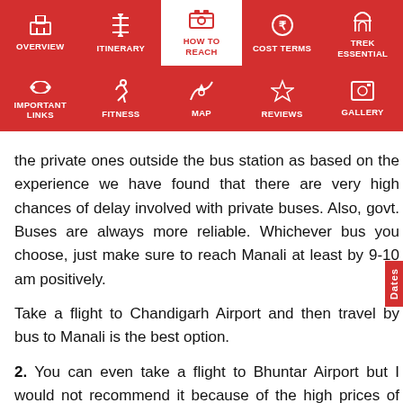OVERVIEW | ITINERARY | HOW TO REACH | COST TERMS | TREK ESSENTIAL | IMPORTANT LINKS | FITNESS | MAP | REVIEWS | GALLERY
the private ones outside the bus station as based on the experience we have found that there are very high chances of delay involved with private buses. Also, govt. Buses are always more reliable. Whichever bus you choose, just make sure to reach Manali at least by 9-10 am positively.
Take a flight to Chandigarh Airport and then travel by bus to Manali is the best option.
2. You can even take a flight to Bhuntar Airport but I would not recommend it because of the high prices of the flight and very high chances of cancellations. In case you do reach Bhuntar by flight, Manali is just a couple of hours away and you can easily get a bus